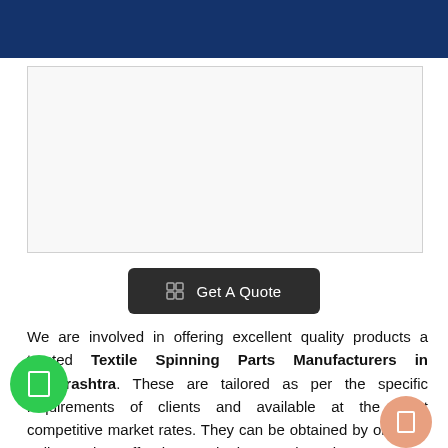Rudra Impex
[Figure (photo): Large product or company image placeholder area with light gray background]
⊞ Get A Quote
We are involved in offering excellent quality products a trusted Textile Spinning Parts Manufacturers in Maharashtra. These are tailored as per the specific requirements of clients and available at the most competitive market rates. They can be obtained by ordering online and we offer them at the best market price.